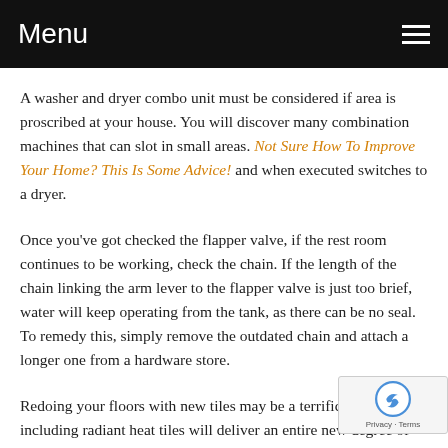Menu
A washer and dryer combo unit must be considered if area is proscribed at your house. You will discover many combination machines that can slot in small areas. Not Sure How To Improve Your Home? This Is Some Advice! and when executed switches to a dryer.
Once you've got checked the flapper valve, if the rest room continues to be working, check the chain. If the length of the chain linking the arm lever to the flapper valve is just too brief, water will keep operating from the tank, as there can be no seal. To remedy this, simply remove the outdated chain and attach a longer one from a hardware store.
Redoing your floors with new tiles may be a terrific concept, but including radiant heat tiles will deliver an entire new degree of consolation to your floors. Le... The Way Handle Dwelling Enhancements Beneath you...